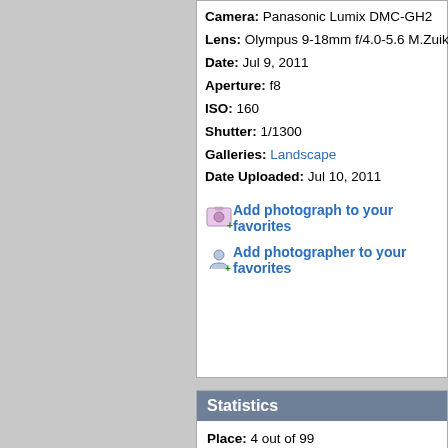Camera: Panasonic Lumix DMC-GH2
Lens: Olympus 9-18mm f/4.0-5.6 M.Zuiko Digital ED
Date: Jul 9, 2011
Aperture: f8
ISO: 160
Shutter: 1/1300
Galleries: Landscape
Date Uploaded: Jul 10, 2011
Add photograph to your favorites
Add photographer to your favorites
Statistics
Place: 4 out of 99
Avg (all users): 6.9366
Avg (commenters): 8.5000
Avg (participants): 6.8462
Avg (non-participants): 6.9889
Views since voting: 2301
Views during voting: 318
Votes: 142
Comments: 23
Favorites: 1 (view)
Plea...
| Author | Thr... |
| --- | --- |
| dagaleaa
Panasonic Lumix DM...
Panasonic Lumix 20m... | 07/2...
far... |